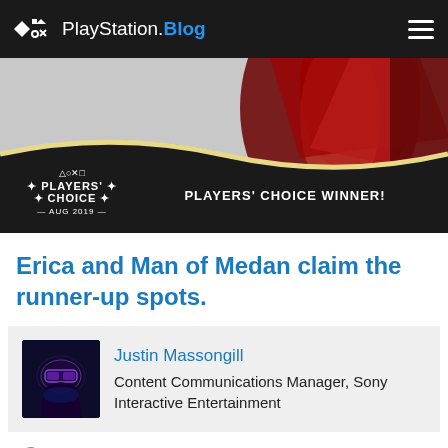PlayStation.Blog
[Figure (illustration): Players' Choice Award banner for August 2019 with 'PLAYERS' CHOICE WINNER!' text, dark wave design, PlayStation symbols, and a figure in a red coat in the background.]
Erica and Man of Medan claim the runner-up spots.
Justin Massongill
Content Communications Manager, Sony Interactive Entertainment